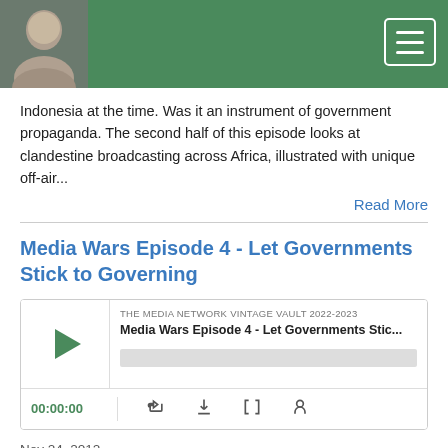[Figure (photo): Header bar with green background, profile photo of a man on the left, and hamburger menu button on the right]
Indonesia at the time. Was it an instrument of government propaganda. The second half of this episode looks at clandestine broadcasting across Africa, illustrated with unique off-air...
Read More
Media Wars Episode 4 - Let Governments Stick to Governing
[Figure (screenshot): Podcast player widget showing episode 'Media Wars Episode 4 - Let Governments Stic...' from THE MEDIA NETWORK VINTAGE VAULT 2022-2023, with play button, progress bar, time 00:00:00, and control icons]
Nov 24, 2012
This edition of Media Wars looks at how governments often make a mess of the message they are trying to put across. We started with